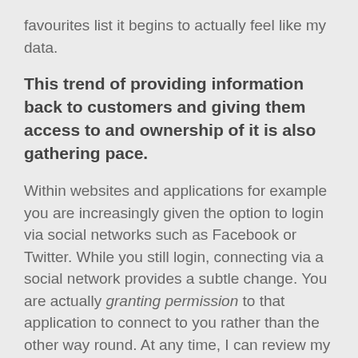favourites list it begins to actually feel like my data.
This trend of providing information back to customers and giving them access to and ownership of it is also gathering pace.
Within websites and applications for example you are increasingly given the option to login via social networks such as Facebook or Twitter. While you still login, connecting via a social network provides a subtle change. You are actually granting permission to that application to connect to you rather than the other way round. At any time, I can review my relationships with different applications and